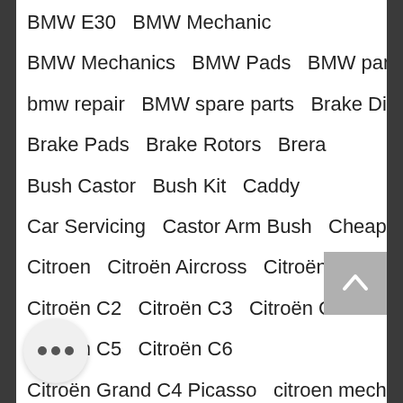BMW E30   BMW Mechanic
BMW Mechanics   BMW Pads   BMW parts
bmw repair   BMW spare parts   Brake Discs
Brake Pads   Brake Rotors   Brera
Bush Castor   Bush Kit   Caddy
Car Servicing   Castor Arm Bush   Cheap
Citroen   Citroën Aircross   Citroën Berlingo
Citroën C2   Citroën C3   Citroën C4 Cactus
Citroën C5   Citroën C6
Citroën Grand C4 Picasso   citroen mechani
citroen parts   Citroën parts
Cold Cranking Amps (CCA)   Control Arm
E90   Engine Mount   Euro car parts
spare parts   Euro spare parts,